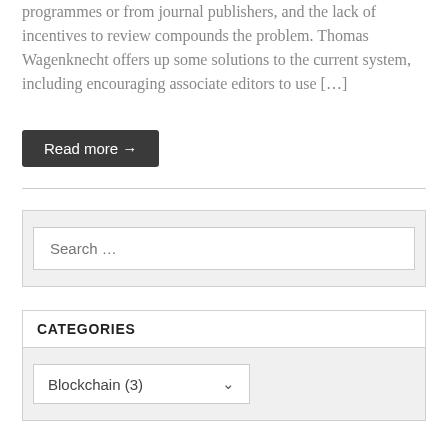programmes or from journal publishers, and the lack of incentives to review compounds the problem. Thomas Wagenknecht offers up some solutions to the current system, including encouraging associate editors to use […]
Read more →
Search …
CATEGORIES
Blockchain  (3)